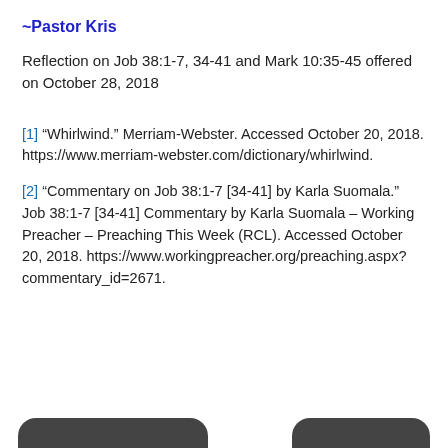~Pastor Kris
Reflection on Job 38:1-7, 34-41 and Mark 10:35-45 offered on October 28, 2018
[1] “Whirlwind.” Merriam-Webster. Accessed October 20, 2018. https://www.merriam-webster.com/dictionary/whirlwind.
[2] “Commentary on Job 38:1-7 [34-41] by Karla Suomala.” Job 38:1-7 [34-41] Commentary by Karla Suomala – Working Preacher – Preaching This Week (RCL). Accessed October 20, 2018. https://www.workingpreacher.org/preaching.aspx?commentary_id=2671.